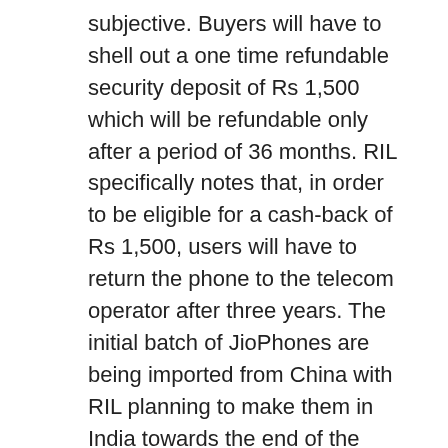subjective. Buyers will have to shell out a one time refundable security deposit of Rs 1,500 which will be refundable only after a period of 36 months. RIL specifically notes that, in order to be eligible for a cash-back of Rs 1,500, users will have to return the phone to the telecom operator after three years. The initial batch of JioPhones are being imported from China with RIL planning to make them in India towards the end of the year should there be great demand.
In order to get the JioPhone at an effective price of Rs 0 or free, here's the total amount that you'll have to shell out:
Refundable security deposit: Rs 1,500
Jio 4G recharge (for three years): Rs 153 per month or more: